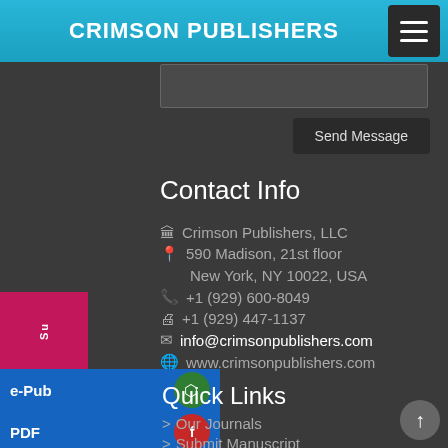CRIMSON PUBLISHERS
Send Message
Contact Info
Crimson Publishers, LLC
590 Madison, 21st floor
New York, NY 10022, USA
+1 (929) 600-8049
+1 (929) 447-1137
info@crimsonpublishers.com
www.crimsonpublishers.com
Quick Links
Our Journals
Submit Manuscript